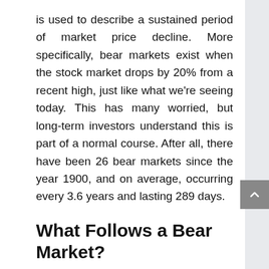is used to describe a sustained period of market price decline. More specifically, bear markets exist when the stock market drops by 20% from a recent high, just like what we're seeing today. This has many worried, but long-term investors understand this is part of a normal course. After all, there have been 26 bear markets since the year 1900, and on average, occurring every 3.6 years and lasting 289 days.
What Follows a Bear Market?
The average bear market is historically